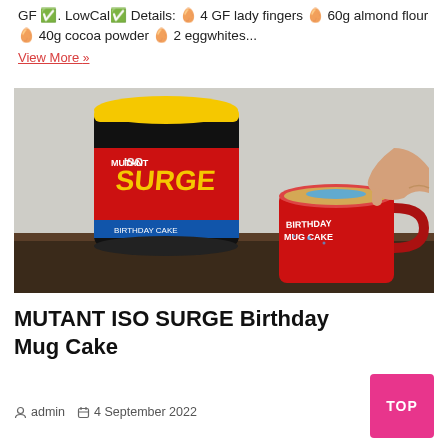GF ✅. LowCal✅ Details: 🥚 4 GF lady fingers 🥚 60g almond flour 🥚 40g cocoa powder 🥚 2 eggwhites...
View More »
[Figure (photo): Photo of a Mutant ISO Surge protein powder container (black with red label and yellow lid) next to a red mug cake cup labeled 'Birthday Mug Cake', with a hand adding blue sprinkles to the mug cake, on a dark wooden table in front of a white brick wall background.]
MUTANT ISO SURGE Birthday Mug Cake
admin   4 September 2022